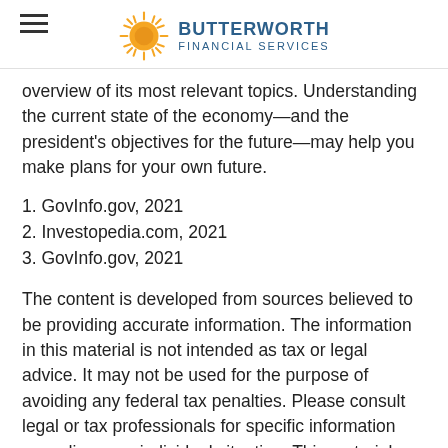BUTTERWORTH FINANCIAL SERVICES
overview of its most relevant topics. Understanding the current state of the economy—and the president's objectives for the future—may help you make plans for your own future.
1. GovInfo.gov, 2021
2. Investopedia.com, 2021
3. GovInfo.gov, 2021
The content is developed from sources believed to be providing accurate information. The information in this material is not intended as tax or legal advice. It may not be used for the purpose of avoiding any federal tax penalties. Please consult legal or tax professionals for specific information regarding your individual situation. This material was developed and produced by FMG Suite to provide information on a topic that may be of